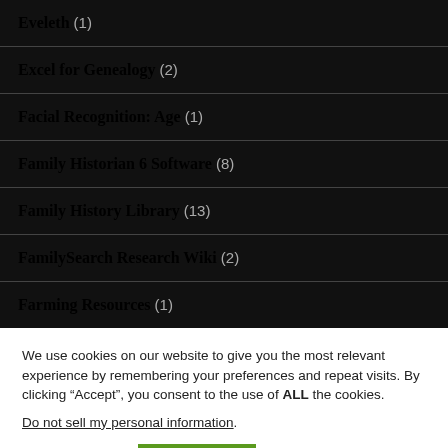Eveleth (1)
Excel for Genealogy (2)
Facial Recognition: Age (1)
Family Historian 6 Software (8)
Family History Library (13)
FamilySearch Research Wiki (2)
Farming Resources (1)
We use cookies on our website to give you the most relevant experience by remembering your preferences and repeat visits. By clicking “Accept”, you consent to the use of ALL the cookies.
Do not sell my personal information.
Cookie settings   ACCEPT